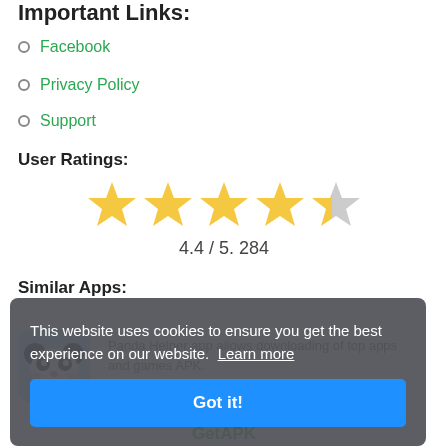Important Links:
Facebook
Privacy Policy
Support
User Ratings:
[Figure (other): Star rating display showing 4.4 out of 5 stars (4 full stars and 1 partial star)]
4.4 / 5. 284
Similar Apps:
[Figure (illustration): Panda Helper app icon - cartoon panda face in a blue rounded square]
Panda Helper app allows downloading of top apps and games APK.
This website uses cookies to ensure you get the best experience on our website. Learn more
Got it!
GetAPK